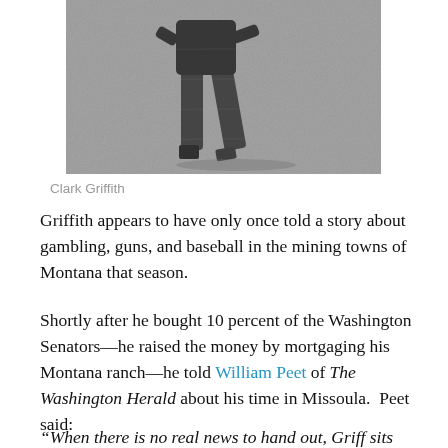[Figure (photo): Black and white photograph of Clark Griffith in a baseball uniform, crouching or fielding position on a grass field.]
Clark Griffith
Griffith appears to have only once told a story about gambling, guns, and baseball in the mining towns of Montana that season.
Shortly after he bought 10 percent of the Washington Senators—he raised the money by mortgaging his Montana ranch—he told William Peet of The Washington Herald about his time in Missoula.  Peet said:
“When there is no real news to hand out, Griff sits back in